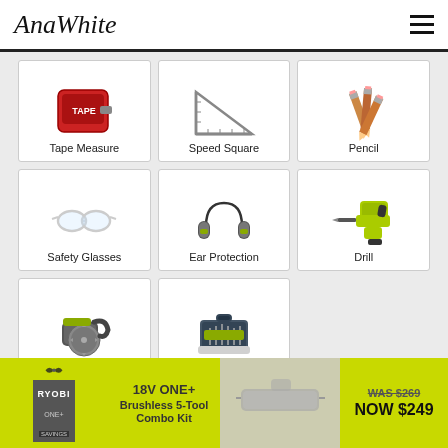AnaWhite
[Figure (illustration): 3x3 grid of tool product cards: Tape Measure, Speed Square, Pencil, Safety Glasses, Ear Protection, Drill, Circular Saw, Drill Bit Set]
[Figure (infographic): RYOBI ONE+ ad banner: 18V ONE+ Brushless 5-Tool Combo Kit, WAS $269 NOW $249]